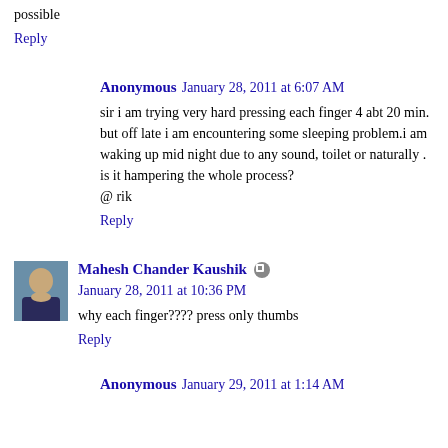possible
Reply
Anonymous  January 28, 2011 at 6:07 AM
sir i am trying very hard pressing each finger 4 abt 20 min. but off late i am encountering some sleeping problem.i am waking up mid night due to any sound, toilet or naturally . is it hampering the whole process?
@ rik
Reply
Mahesh Chander Kaushik  January 28, 2011 at 10:36 PM
why each finger???? press only thumbs
Reply
Anonymous  January 29, 2011 at 1:14 AM